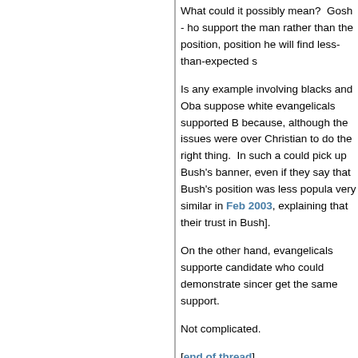What could it possibly mean?  Gosh - ho support the man rather than the position, position he will find less-than-expected s
Is any example involving blacks and Oba suppose white evangelicals supported B because, although the issues were over Christian to do the right thing.  In such a could pick up Bush's banner, even if they say that Bush's position was less popula very similar in Feb 2003, explaining that their trust in Bush].
On the other hand, evangelicals supporte candidate who could demonstrate sincer get the same support.
Not complicated.
[end of thread]
P
Comments